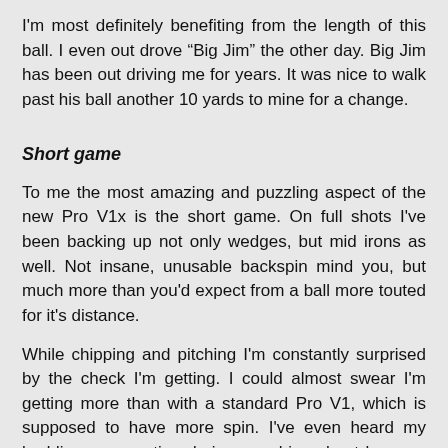I'm most definitely benefiting from the length of this ball.  I even out drove “Big Jim” the other day.  Big Jim has been out driving me for years.  It was nice to walk past his ball another 10 yards to mine for a change.
Short game
To me the most amazing and puzzling aspect of the new Pro V1x is the short game.  On full shots I've been backing up not only wedges, but mid irons as well.  Not insane, unusable backspin mind you, but much more than you'd expect from a ball more touted for it's distance.
While chipping and pitching I'm constantly surprised by the check I'm getting.  I could almost swear I'm getting more than with a standard Pro V1, which is supposed to have more spin.  I've even heard my buddies commenting during my chips about how my shots are checking.  That hasn't happened before.